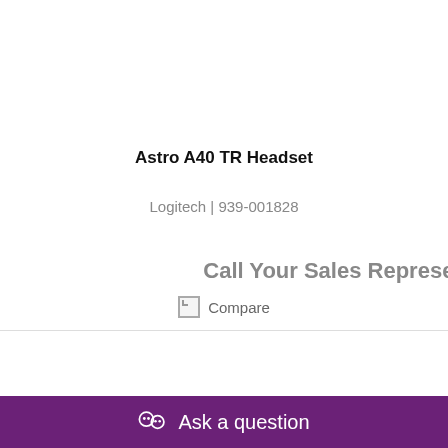Astro A40 TR Headset
Logitech | 939-001828
Call Your Sales Representative
Compare
Ask a question